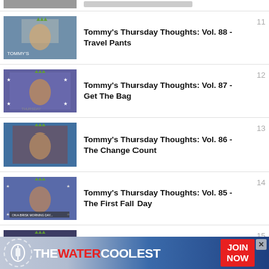[Figure (screenshot): Partial video thumbnail at top (cropped)]
Tommy's Thursday Thoughts: Vol. 88 - Travel Pants  11
Tommy's Thursday Thoughts: Vol. 87 - Get The Bag  12
Tommy's Thursday Thoughts: Vol. 86 - The Change Count  13
Tommy's Thursday Thoughts: Vol. 85 - The First Fall Day  14
Tommy's Thursday Thoughts: Vol. 84 - The Most Significant Month  15
[Figure (screenshot): Advertisement banner: THE WATER COOLEST - JOIN NOW]